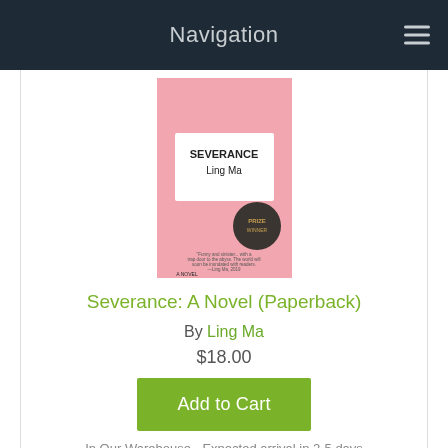Navigation
[Figure (photo): Pink book cover of 'Severance' by Ling Ma with a white label in the center showing the title and author name, and a dark circular badge/seal on the lower right of the cover.]
Severance: A Novel (Paperback)
By Ling Ma
$18.00
Add to Cart
In Our Warehouse - Expected arrival in 2-5 days
[Figure (photo): Partial view of a purple/mauve book cover, the next product listing below.]